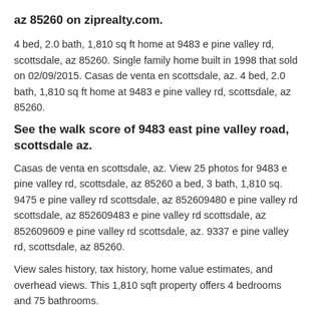az 85260 on ziprealty.com.
4 bed, 2.0 bath, 1,810 sq ft home at 9483 e pine valley rd, scottsdale, az 85260. Single family home built in 1998 that sold on 02/09/2015. Casas de venta en scottsdale, az. 4 bed, 2.0 bath, 1,810 sq ft home at 9483 e pine valley rd, scottsdale, az 85260.
See the walk score of 9483 east pine valley road, scottsdale az.
Casas de venta en scottsdale, az. View 25 photos for 9483 e pine valley rd, scottsdale, az 85260 a bed, 3 bath, 1,810 sq. 9475 e pine valley rd scottsdale, az 852609480 e pine valley rd scottsdale, az 852609483 e pine valley rd scottsdale, az 852609609 e pine valley rd scottsdale, az. 9337 e pine valley rd, scottsdale, az 85260.
View sales history, tax history, home value estimates, and overhead views. This 1,810 sqft property offers 4 bedrooms and 75 bathrooms.